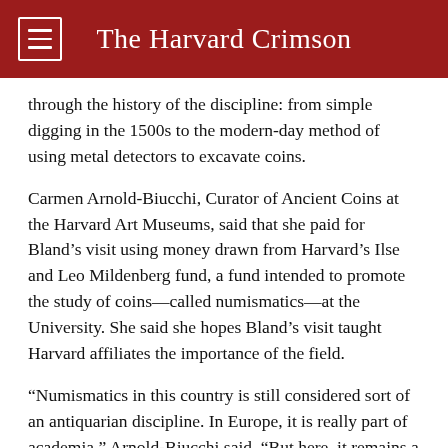The Harvard Crimson
through the history of the discipline: from simple digging in the 1500s to the modern-day method of using metal detectors to excavate coins.
Carmen Arnold-Biucchi, Curator of Ancient Coins at the Harvard Art Museums, said that she paid for Bland’s visit using money drawn from Harvard’s Ilse and Leo Mildenberg fund, a fund intended to promote the study of coins—called numismatics—at the University. She said she hopes Bland’s visit taught Harvard affiliates the importance of the field.
“Numismatics in this country is still considered sort of an antiquarian discipline. In Europe, it is really part of academia,” Arnold-Biucchi said. “But here, it remains a hobby for collectors, so we are trying here at Harvard to emphasize that it is a very important historical discipline